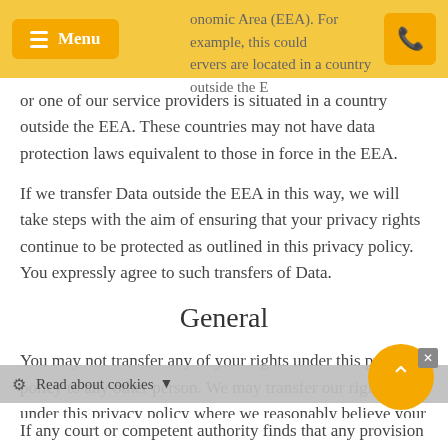onomic Area (EEA). For example, this could ervers are located in a country outside the E
or one of our service providers is situated in a country outside the EEA. These countries may not have data protection laws equivalent to those in force in the EEA.
If we transfer Data outside the EEA in this way, we will take steps with the aim of ensuring that your privacy rights continue to be protected as outlined in this privacy policy. You expressly agree to such transfers of Data.
General
You may not transfer any of your rights under this privacy policy to any other person. We may transfer our rights under this privacy policy where we reasonably believe your rights will not be affected.
If any court or competent authority finds that any provision